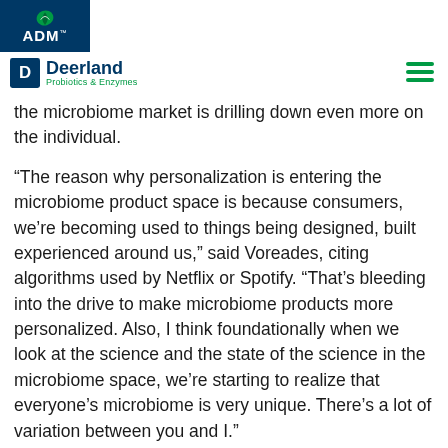ADM | Deerland Probiotics & Enzymes
the microbiome market is drilling down even more on the individual.
“The reason why personalization is entering the microbiome product space is because consumers, we’re becoming used to things being designed, built experienced around us,” said Voreades, citing algorithms used by Netflix or Spotify. “That’s bleeding into the drive to make microbiome products more personalized. Also, I think foundationally when we look at the science and the state of the science in the microbiome space, we’re starting to realize that everyone’s microbiome is very unique. There’s a lot of variation between you and I.”